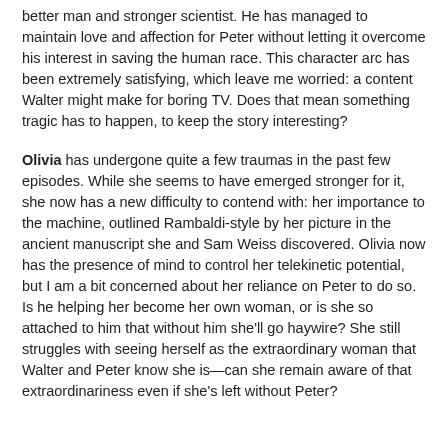better man and stronger scientist. He has managed to maintain love and affection for Peter without letting it overcome his interest in saving the human race. This character arc has been extremely satisfying, which leave me worried: a content Walter might make for boring TV. Does that mean something tragic has to happen, to keep the story interesting?
Olivia has undergone quite a few traumas in the past few episodes. While she seems to have emerged stronger for it, she now has a new difficulty to contend with: her importance to the machine, outlined Rambaldi-style by her picture in the ancient manuscript she and Sam Weiss discovered. Olivia now has the presence of mind to control her telekinetic potential, but I am a bit concerned about her reliance on Peter to do so. Is he helping her become her own woman, or is she so attached to him that without him she'll go haywire? She still struggles with seeing herself as the extraordinary woman that Walter and Peter know she is—can she remain aware of that extraordinariness even if she's left without Peter?